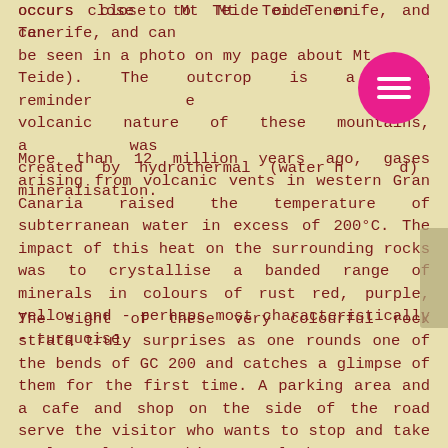occurs close to Mt Teide on Tenerife, and can be seen in a photo on my page about Mt Teide). The outcrop is a fine reminder of the volcanic nature of these mountains, and was created by hydrothermal (water heated) mineralisation.
More than 12 million years ago, gases arising from volcanic vents in western Gran Canaria raised the temperature of subterranean water in excess of 200°C. The impact of this heat on the surrounding rocks was to crystallise a banded range of minerals in colours of rust red, purple, yellow and - perhaps most characteristically - turquoise.
The sight of these very colourful rock strata truly surprises as one rounds one of the bends of GC 200 and catches a glimpse of them for the first time. A parking area and a cafe and shop on the side of the road serve the visitor who wants to stop and take a closer look at this natural phenomenon.